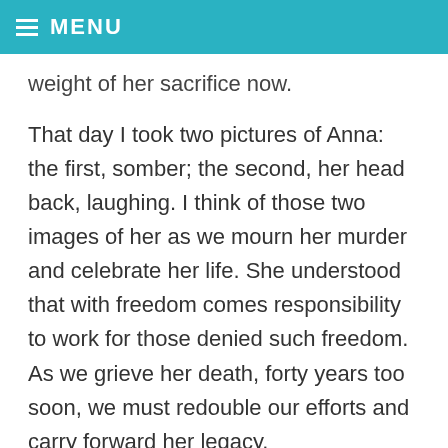MENU
weight of her sacrifice now.
That day I took two pictures of Anna: the first, somber; the second, her head back, laughing. I think of those two images of her as we mourn her murder and celebrate her life. She understood that with freedom comes responsibility to work for those denied such freedom. As we grieve her death, forty years too soon, we must redouble our efforts and carry forward her legacy.